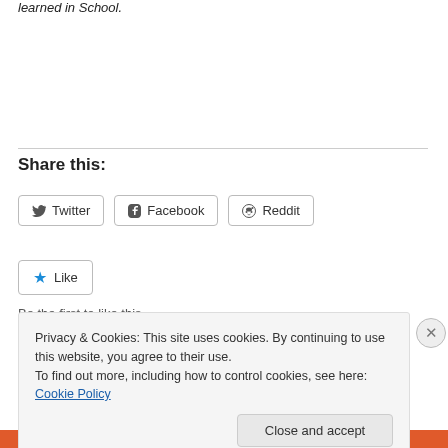learned in School.
Share this:
[Figure (screenshot): Social share buttons: Twitter, Facebook, Reddit]
[Figure (screenshot): Like button with blue star icon]
Be the first to like this.
Privacy & Cookies: This site uses cookies. By continuing to use this website, you agree to their use.
To find out more, including how to control cookies, see here: Cookie Policy
Close and accept